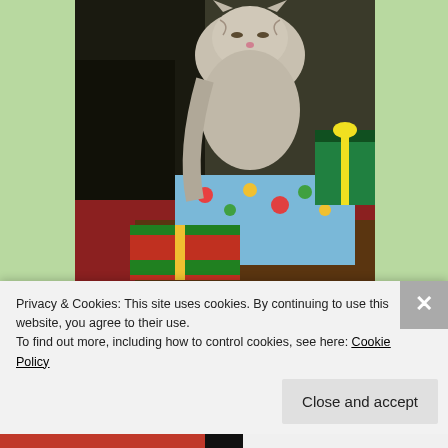[Figure (photo): A cat (Maxi) resting among wrapped Christmas presents under a tree. The presents are wrapped in blue holiday paper with colorful decorations and red/green packages.]
Our Maxi under the tree
http://jesuscarriesme.com/2012/12/22/a-time-for-giving/
http://ladydeidre.com/2012/12/21/seeking-solace/
Privacy & Cookies: This site uses cookies. By continuing to use this website, you agree to their use.
To find out more, including how to control cookies, see here: Cookie Policy